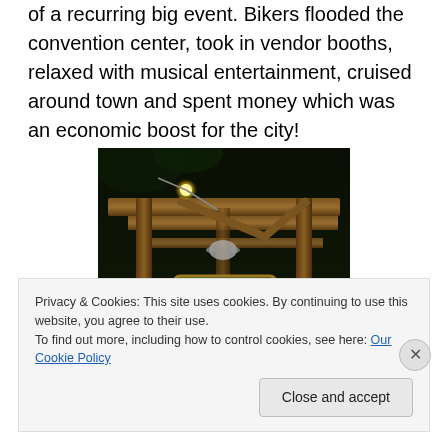of a recurring big event. Bikers flooded the convention center, took in vendor booths, relaxed with musical entertainment, cruised around town and spent money which was an economic boost for the city!
[Figure (photo): Nighttime photo of a steakhouse exterior with wooden beams and a green sign reading 'Jams Steakhouse', illuminated by a bright light]
Privacy & Cookies: This site uses cookies. By continuing to use this website, you agree to their use.
To find out more, including how to control cookies, see here: Our Cookie Policy